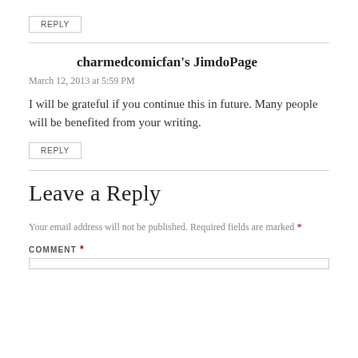REPLY
charmedcomicfan's JimdoPage
March 12, 2013 at 5:59 PM
I will be grateful if you continue this in future. Many people will be benefited from your writing.
REPLY
Leave a Reply
Your email address will not be published. Required fields are marked *
COMMENT *